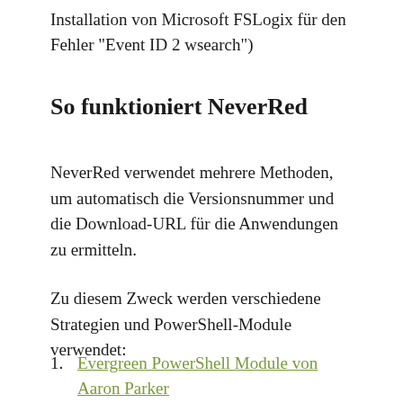Installation von Microsoft FSLogix für den Fehler "Event ID 2 wsearch")
So funktioniert NeverRed
NeverRed verwendet mehrere Methoden, um automatisch die Versionsnummer und die Download-URL für die Anwendungen zu ermitteln.
Zu diesem Zweck werden verschiedene Strategien und PowerShell-Module verwendet:
Evergreen PowerShell Module von Aaron Parker